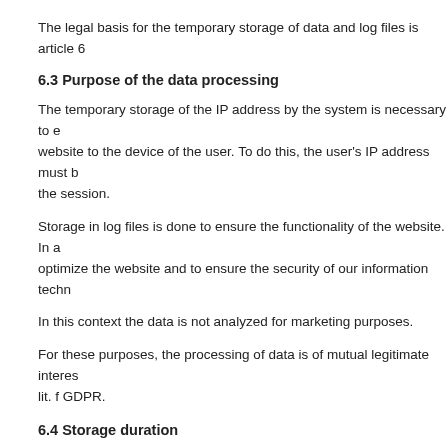The legal basis for the temporary storage of data and log files is article 6
6.3 Purpose of the data processing
The temporary storage of the IP address by the system is necessary to e website to the device of the user. To do this, the user’s IP address must b the session.
Storage in log files is done to ensure the functionality of the website. In a optimize the website and to ensure the security of our information techn
In this context the data is not analyzed for marketing purposes.
For these purposes, the processing of data is of mutual legitimate interes lit. f GDPR.
6.4 Storage duration
The data will be deleted as soon as it is no longer necessary for the purpo If data collection takes place for the provision of the website, then this w respective session is terminated.
In the event that data is stored in log files, then this will happen after no Further storage is possible. In this case, the IP addresses of the users are the client who retrieved the website can no longer be identified.